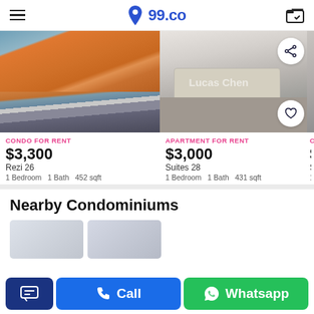99.co
[Figure (photo): Aerial view of a building with orange/terracotta tiled roof — Condo for rent listing image]
[Figure (photo): Bedroom interior with beige headboard and two teddy bears — Apartment for rent listing image, watermark: Lucas Chen]
[Figure (photo): Partially visible third listing image]
CONDO FOR RENT
$3,300
Rezi 26
1 Bedroom  1 Bath  452 sqft
APARTMENT FOR RENT
$3,000
Suites 28
1 Bedroom  1 Bath  431 sqft
CON
$3,0
Suite
1 Be
Nearby Condominiums
[Figure (photo): Nearby condominium listing thumbnail 1]
[Figure (photo): Nearby condominium listing thumbnail 2]